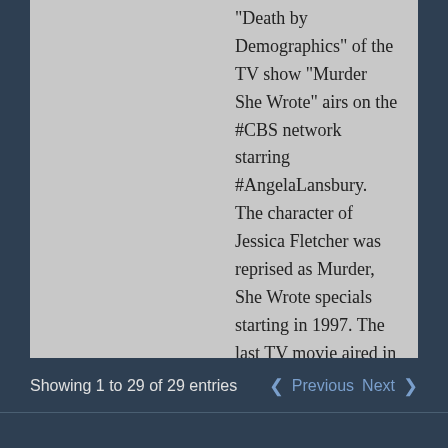"Death by Demographics" of the TV show "Murder She Wrote" airs on the #CBS network starring #AngelaLansbury. The character of Jessica Fletcher was reprised as Murder, She Wrote specials starting in 1997. The last TV movie aired in May 2003
Showing 1 to 29 of 29 entries   Previous  Next